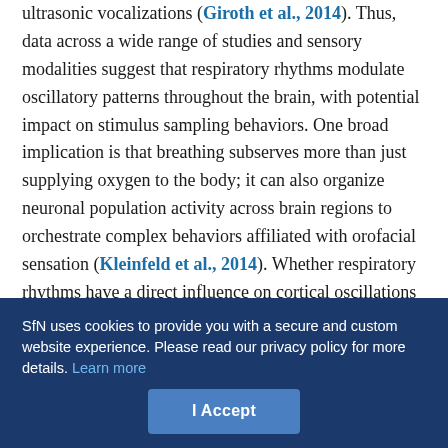ultrasonic vocalizations (Giroth et al., 2014). Thus, data across a wide range of studies and sensory modalities suggest that respiratory rhythms modulate oscillatory patterns throughout the brain, with potential impact on stimulus sampling behaviors. One broad implication is that breathing subserves more than just supplying oxygen to the body; it can also organize neuronal population activity across brain regions to orchestrate complex behaviors affiliated with orofacial sensation (Kleinfeld et al., 2014). Whether respiratory rhythms have a direct influence on cortical oscillations in the human brain is not well understood.
Here we used intracranial EEG (iEEG) methods to test four inter-related hypotheses about breathing, the brain, and cognition. First, we asked whether respiratory-induced oscillations are present in
SfN uses cookies to provide you with a secure and custom website experience. Please read our privacy policy for more details. Learn more